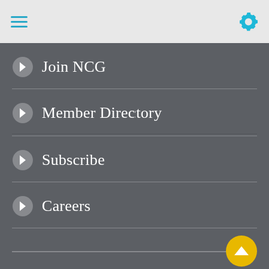Navigation header bar with hamburger menu and settings gear icon
Join NCG
Member Directory
Subscribe
Careers
Become a Member
JOIN NCG